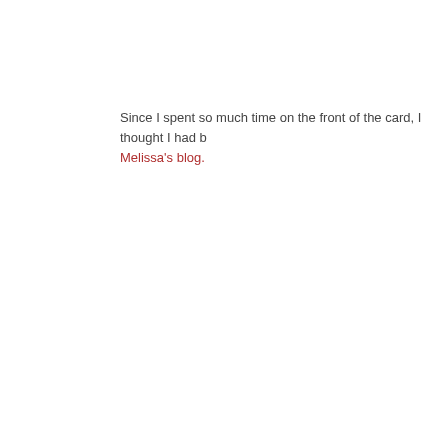Since I spent so much time on the front of the card, I thought I had b Melissa's blog.
[Figure (photo): A handmade greeting card with colorful patterned paper strips in blue, red, green, olive and black. A large white circle is layered on top with the text 'Get' visible (rest cut off). The card has a dark navy border and sits on a light pink/peach background. The image is cropped so the right portion of the card is cut off.]